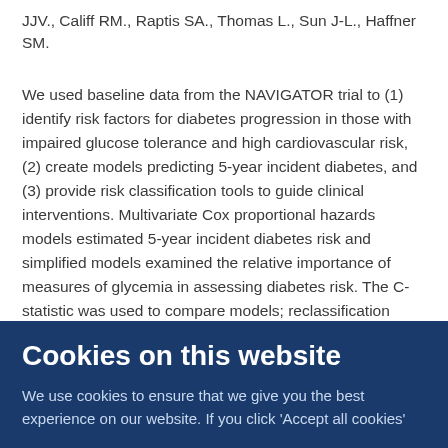JJV., Califf RM., Raptis SA., Thomas L., Sun J-L., Haffner SM.
We used baseline data from the NAVIGATOR trial to (1) identify risk factors for diabetes progression in those with impaired glucose tolerance and high cardiovascular risk, (2) create models predicting 5-year incident diabetes, and (3) provide risk classification tools to guide clinical interventions. Multivariate Cox proportional hazards models estimated 5-year incident diabetes risk and simplified models examined the relative importance of measures of glycemia in assessing diabetes risk. The C-statistic was used to compare models; reclassification analyses compare the models' ability to identify risk groups defined by potential therapies (routine or intensive lifestyle advice or pharmacologic therapy). Diabetes
Cookies on this website
We use cookies to ensure that we give you the best experience on our website. If you click 'Accept all cookies'